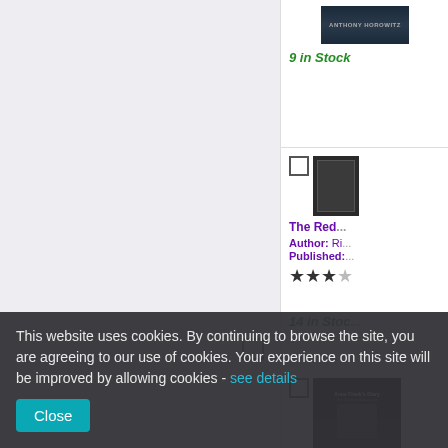[Figure (screenshot): Book listing page showing partial view of a bookstore website with book covers, stock information, and ratings]
9 in Stock
The Red...
Author: Ri...
Published:...
14 in Stock
The Gra...
Author: Fra...
Published:...
This website uses cookies. By continuing to browse the site, you are agreeing to our use of cookies. Your experience on this site will be improved by allowing cookies - see details
Close